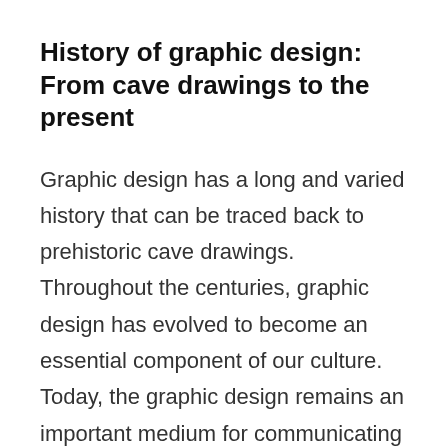History of graphic design: From cave drawings to the present
Graphic design has a long and varied history that can be traced back to prehistoric cave drawings. Throughout the centuries, graphic design has evolved to become an essential component of our culture. Today, the graphic design remains an important medium for communicating ideas and conveying information. From logos and advertisements to website designs and print ads, graphic designers have a broad range of options